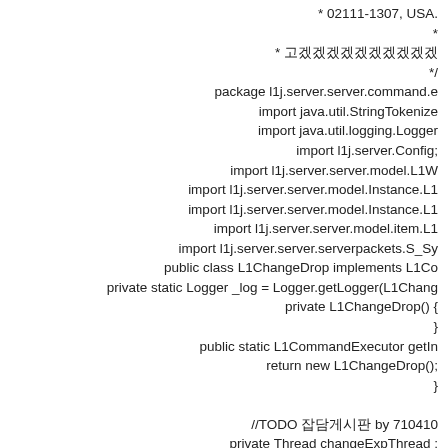* 02111-1307, USA.
 *
 * 곤ꊼꎷ꒩꒝굮ꏋꃴ곤ꏵ
 */
package l1j.server.server.command.e
import java.util.StringTokenize
import java.util.logging.Logger
import l1j.server.Config;
import l1j.server.server.model.L1W
import l1j.server.server.model.Instance.L1
import l1j.server.server.model.Instance.L1
import l1j.server.server.model.item.L1
import l1j.server.server.serverpackets.S_Sy
public class L1ChangeDrop implements L1Co
private static Logger _log = Logger.getLogger(L1Chang
private L1ChangeDrop() {
}
public static L1CommandExecutor getIn
return new L1ChangeDrop();
}

//TODO 잡담게시판 by 710410
private Thread changeExpThread :
//@Override